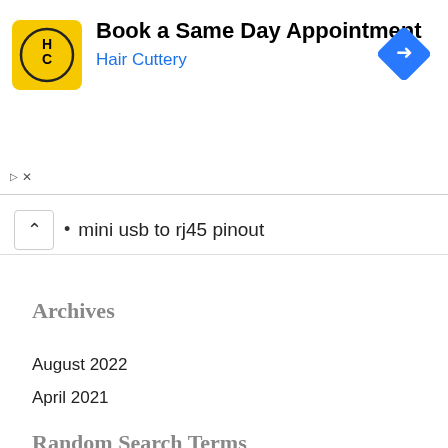[Figure (infographic): Advertisement banner for Hair Cuttery. Yellow square logo with HC initials, heading 'Book a Same Day Appointment', subheading 'Hair Cuttery' in blue, blue diamond navigation arrow icon top right. Ad controls (triangle and X) bottom left.]
mini usb to rj45 pinout
Archives
August 2022
April 2021
Random Search Terms